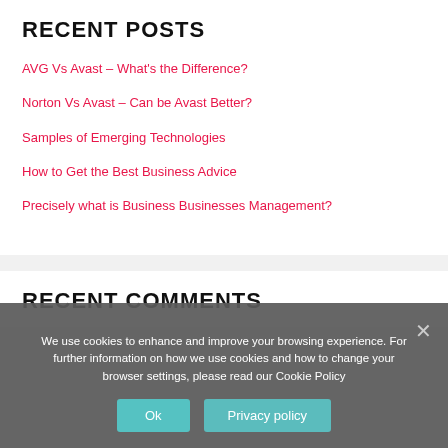RECENT POSTS
AVG Vs Avast – What's the Difference?
Norton Vs Avast – Can be Avast Better?
Samples of Emerging Technologies
How to Get the Best Business Advice
Precisely what is Business Businesses Management?
RECENT COMMENTS
We use cookies to enhance and improve your browsing experience. For further information on how we use cookies and how to change your browser settings, please read our Cookie Policy